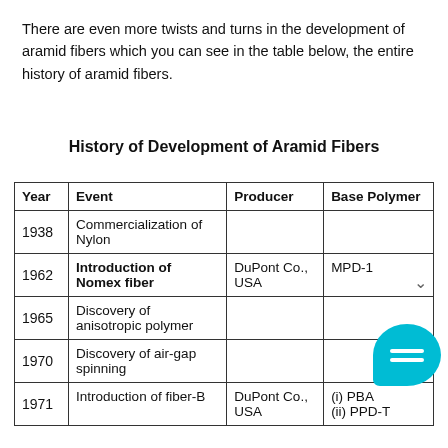There are even more twists and turns in the development of aramid fibers which you can see in the table below, the entire history of aramid fibers.
History of Development of Aramid Fibers
| Year | Event | Producer | Base Polymer |
| --- | --- | --- | --- |
| 1938 | Commercialization of Nylon |  |  |
| 1962 | Introduction of Nomex fiber | DuPont Co., USA | MPD-1 |
| 1965 | Discovery of anisotropic polymer |  |  |
| 1970 | Discovery of air-gap spinning |  |  |
| 1971 | Introduction of fiber-B | DuPont Co., USA | (i) PBA
(ii) PPD-T |